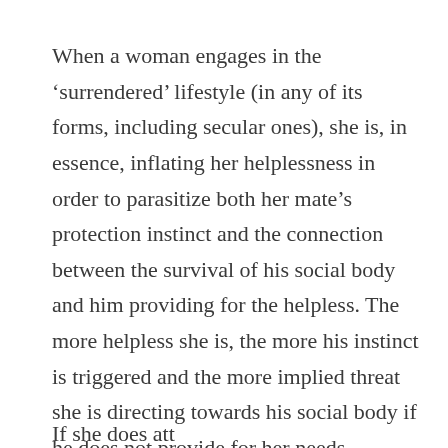When a woman engages in the ‘surrendered’ lifestyle (in any of its forms, including secular ones), she is, in essence, inflating her helplessness in order to parasitize both her mate’s protection instinct and the connection between the survival of his social body and him providing for the helpless. The more helpless she is, the more his instinct is triggered and the more implied threat she is directing towards his social body if he does not provide for her needs.
If she does att...